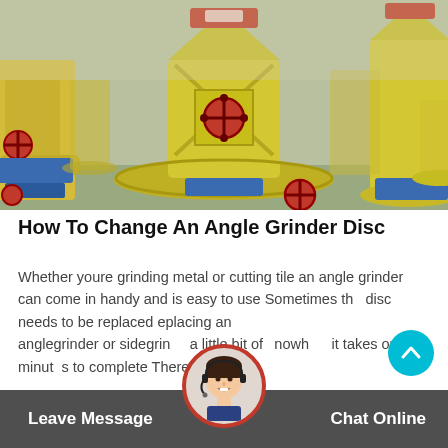[Figure (photo): Photograph of multiple large yellow industrial cone crusher machines in a factory/warehouse setting, with red circular valve handles and blue base structures visible.]
How To Change An Angle Grinder Disc
Whether youre grinding metal or cutting tile an angle grinder can come in handy and is easy to use Sometimes the disc needs to be replaced replacing an anglegrinder or sidegrinder is a little bit of knowhow it takes only minutes to complete There are a few
Leave Message   Chat Online